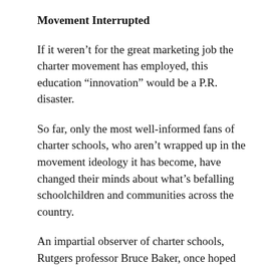Movement Interrupted
If it weren’t for the great marketing job the charter movement has employed, this education “innovation” would be a P.R. disaster.
So far, only the most well-informed fans of charter schools, who aren’t wrapped up in the movement ideology it has become, have changed their minds about what’s befalling schoolchildren and communities across the country.
An impartial observer of charter schools, Rutgers professor Bruce Baker, once hoped